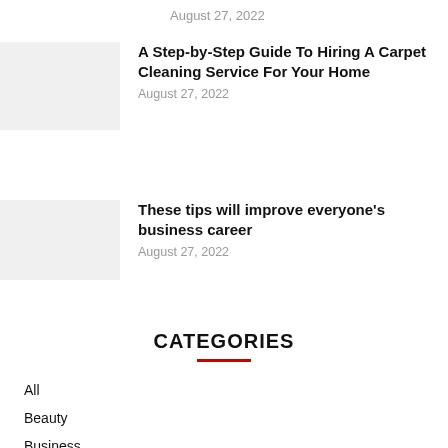August 27, 2022
[Figure (photo): Thumbnail image for carpet cleaning article]
A Step-by-Step Guide To Hiring A Carpet Cleaning Service For Your Home
August 27, 2022
[Figure (photo): Thumbnail image for business career article]
These tips will improve everyone's business career
August 27, 2022
CATEGORIES
All
Beauty
Business